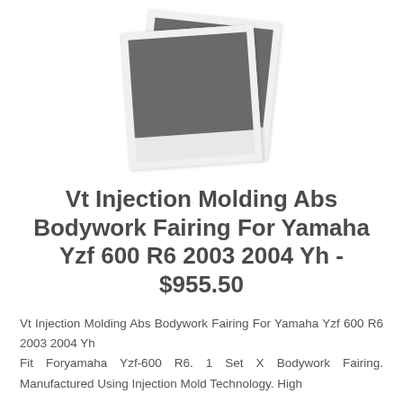[Figure (photo): Two overlapping polaroid-style placeholder photos stacked at slight angles, showing dark gray/slate colored rectangles representing product images.]
Vt Injection Molding Abs Bodywork Fairing For Yamaha Yzf 600 R6 2003 2004 Yh - $955.50
Vt Injection Molding Abs Bodywork Fairing For Yamaha Yzf 600 R6 2003 2004 Yh
Fit Foryamaha Yzf-600 R6. 1 Set X Bodywork Fairing. Manufactured Using Injection Mold Technology. High